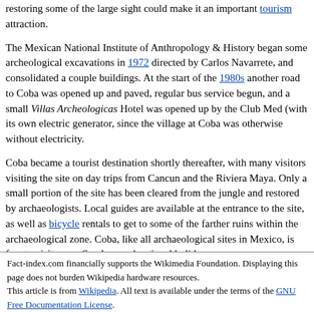restoring some of the large sight could make it an important tourism attraction.
The Mexican National Institute of Anthropology & History began some archeological excavations in 1972 directed by Carlos Navarrete, and consolidated a couple buildings. At the start of the 1980s another road to Coba was opened up and paved, regular bus service begun, and a small Villas Archeologicas Hotel was opened up by the Club Med (with its own electric generator, since the village at Coba was otherwise without electricity.
Coba became a tourist destination shortly thereafter, with many visitors visiting the site on day trips from Cancun and the Riviera Maya. Only a small portion of the site has been cleared from the jungle and restored by archaeologists. Local guides are available at the entrance to the site, as well as bicycle rentals to get to some of the farther ruins within the archaeological zone. Coba, like all archaeological sites in Mexico, is free to visitors on Sundays and national holidays.
Fact-index.com financially supports the Wikimedia Foundation. Displaying this page does not burden Wikipedia hardware resources. This article is from Wikipedia. All text is available under the terms of the GNU Free Documentation License.